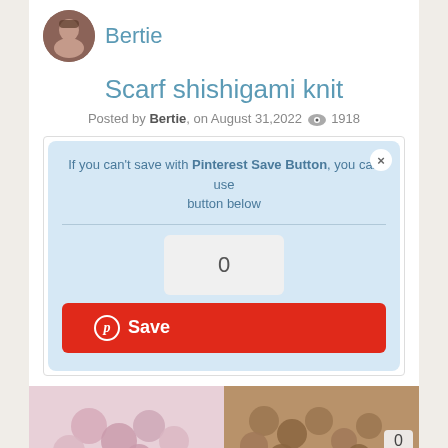[Figure (photo): Circular avatar photo of a woman named Bertie]
Bertie
Scarf shishigami knit
Posted by Bertie, on August 31,2022  1918
If you can't save with Pinterest Save Button, you can use button below
[Figure (screenshot): Pinterest save widget with count 0 and red Save button]
[Figure (photo): Pink chunky knit scarf close-up photo]
[Figure (photo): Brown chunky knit scarf with Pinterest save overlay showing count 0 and Save button]